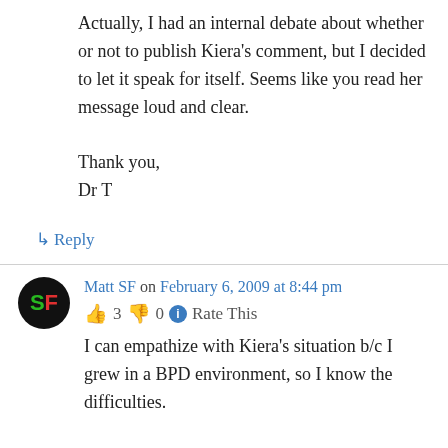Actually, I had an internal debate about whether or not to publish Kiera's comment, but I decided to let it speak for itself. Seems like you read her message loud and clear.

Thank you,
Dr T
↳ Reply
Matt SF on February 6, 2009 at 8:44 pm
👍 3 👎 0 ℹ Rate This
I can empathize with Kiera's situation b/c I grew in a BPD environment, so I know the difficulties.